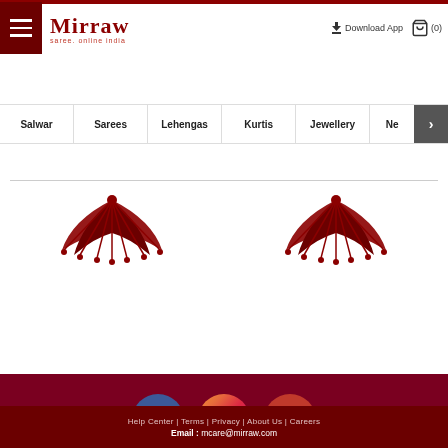[Figure (screenshot): Mirraw website header with hamburger menu, logo, Download App link, and cart icon]
[Figure (screenshot): Navigation bar with categories: Salwar, Sarees, Lehengas, Kurtis, Jewellery, Ne (truncated), and right arrow]
[Figure (illustration): Two decorative dark red mandala/rangoli designs on white background]
[Figure (screenshot): Footer section with social media icons (Facebook, Instagram, YouTube), SIGN IN button, three feature icons with text (Free Shipping Within India, Ships Worldwide, 100% Money Back Guarantee)]
Help Center | Terms | Privacy | About Us | Careers
Email : mcare@mirraw.com